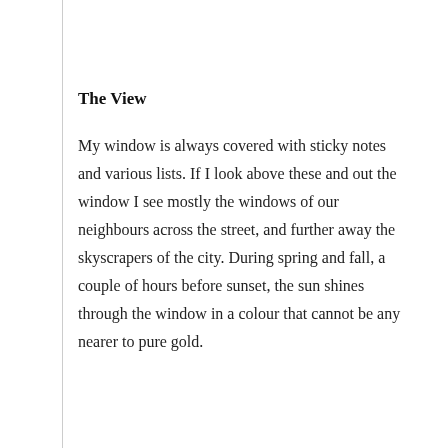The View
My window is always covered with sticky notes and various lists. If I look above these and out the window I see mostly the windows of our neighbours across the street, and further away the skyscrapers of the city. During spring and fall, a couple of hours before sunset, the sun shines through the window in a colour that cannot be any nearer to pure gold.